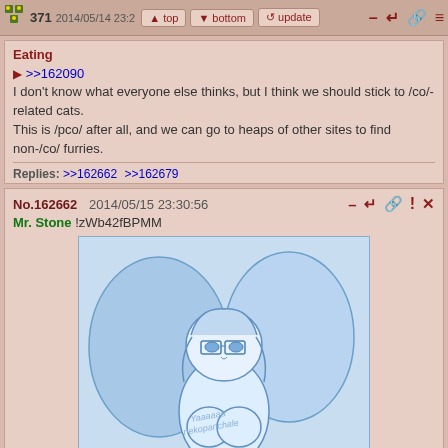371 2014/05/14 23:2 | top | bottom | update
Eating
>>162090
I don't know what everyone else thinks, but I think we should stick to /co/-related cats. This is /pco/ after all, and we can go to heaps of other sites to find non-/co/ furries.
Replies: >>162662 >>162679
No.162662  2014/05/15 23:30:56
Mr. Stone !zWb42fBPMM
[Figure (illustration): Anime-style sketch illustration of a fairy/pixie character with wings, glasses, sitting in a blue-toned line art style]
Image: 140022185600.jpg
(651kB , 1200x1000 , 1385772050810.jpg)
>>162371
I can live with that.
No.162664  2014/05/15 23:33:42
Mr. Stone !zWb42fBPMM
Post reply